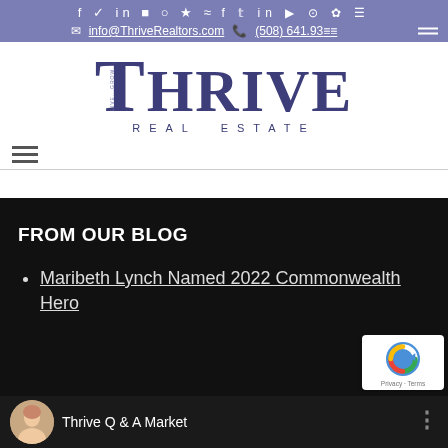Social icons row: f, Twitter, in, yt, Instagram, Yelp, RSS
info@ThriveRealtors.com  (508) 641.93...
[Figure (logo): Thrive Real Estate logo with large stylized T and text THRIVE REAL ESTATE]
FROM OUR BLOG
Maribeth Lynch Named 2022 Commonwealth Hero
Thrive Q & A Market
[Figure (other): reCAPTCHA badge with Privacy and Terms links]